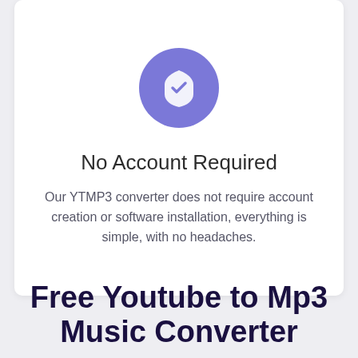[Figure (illustration): Purple circle icon with a white shield checkmark symbol]
No Account Required
Our YTMP3 converter does not require account creation or software installation, everything is simple, with no headaches.
Free Youtube to Mp3 Music Converter